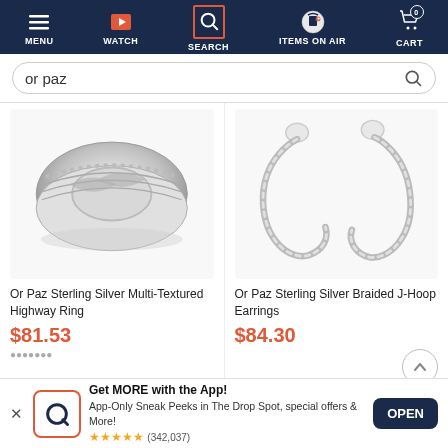[Figure (screenshot): Navigation bar with MENU, WATCH, Search (active/selected with orange border), ITEMS ON AIR, and CART icons on dark navy background]
[Figure (screenshot): Search input bar with text 'or paz' and magnifying glass icon]
[Figure (photo): Or Paz Sterling Silver Multi-Textured Highway Ring - ornate silver ring with multiple textured bands]
Or Paz Sterling Silver Multi-Textured Highway Ring
$81.53
[Figure (photo): Or Paz Sterling Silver Braided J-Hoop Earrings - pair of silver braided hoop earrings with butterfly backs]
Or Paz Sterling Silver Braided J-Hoop Earrings
$84.30
[Figure (infographic): App download banner with QVC logo in orange-bordered box, 'Get MORE with the App!' text, description, 5-star rating with (342,037) reviews, and OPEN button]